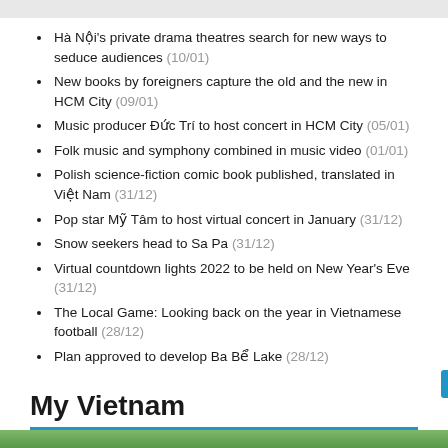Hà Nội's private drama theatres search for new ways to seduce audiences (10/01)
New books by foreigners capture the old and the new in HCM City (09/01)
Music producer Đức Trí to host concert in HCM City (05/01)
Folk music and symphony combined in music video (01/01)
Polish science-fiction comic book published, translated in Việt Nam (31/12)
Pop star Mỹ Tâm to host virtual concert in January (31/12)
Snow seekers head to Sa Pa (31/12)
Virtual countdown lights 2022 to be held on New Year's Eve (31/12)
The Local Game: Looking back on the year in Vietnamese football (28/12)
Plan approved to develop Ba Bể Lake (28/12)
My Vietnam
[Figure (photo): Green landscape/nature photo at bottom of page]